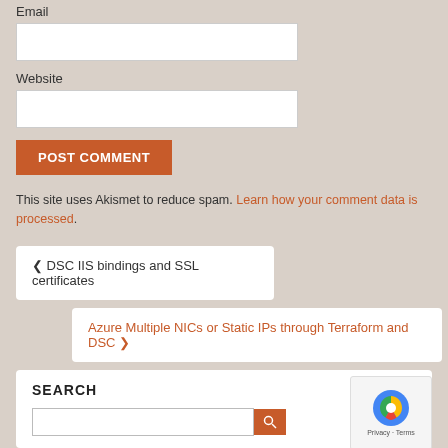Email
Website
POST COMMENT
This site uses Akismet to reduce spam. Learn how your comment data is processed.
❮ DSC IIS bindings and SSL certificates
Azure Multiple NICs or Static IPs through Terraform and DSC ❯
SEARCH